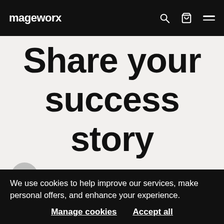mageworx
Share your success story
If you'd like to tell us the story of your journey using a Mageworx solution
We use cookies to help improve our services, make personal offers, and enhance your experience.
Manage cookies   Accept all